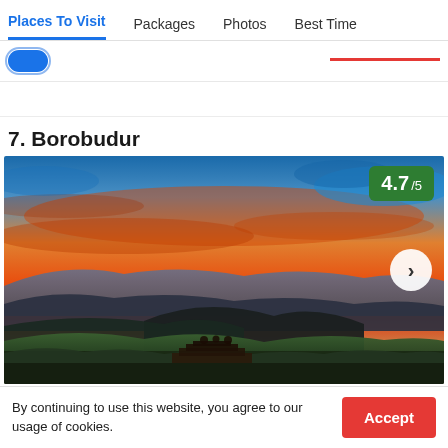Places To Visit | Packages | Photos | Best Time
7. Borobudur
[Figure (photo): Aerial landscape photo of Borobudur temple surrounded by lush green forest and hills at sunset with vivid orange and blue sky. Rating badge showing 4.7/5 in green. Navigation arrow on right side.]
By continuing to use this website, you agree to our usage of cookies.